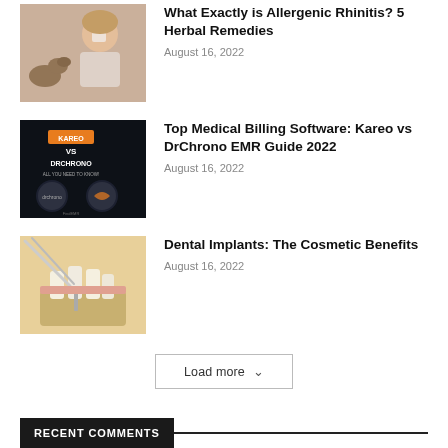[Figure (photo): Woman sneezing or blowing nose with a dog nearby]
What Exactly is Allergenic Rhinitis? 5 Herbal Remedies
August 16, 2022
[Figure (photo): Dark background image comparing Kareo vs DrChrono with logos]
Top Medical Billing Software: Kareo vs DrChrono EMR Guide 2022
August 16, 2022
[Figure (photo): Dental implant model with tweezers]
Dental Implants: The Cosmetic Benefits
August 16, 2022
Load more
RECENT COMMENTS